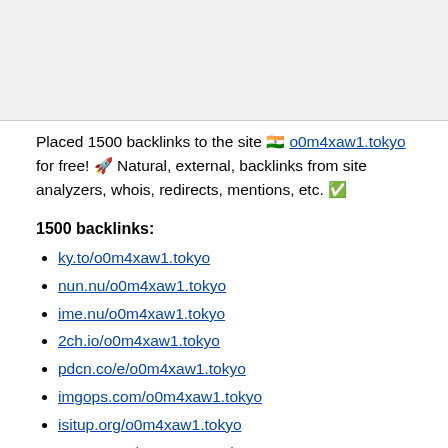Placed 1500 backlinks to the site 🇮🇳 o0m4xaw1.tokyo for free! 🚀 Natural, external, backlinks from site analyzers, whois, redirects, mentions, etc. ✅
1500 backlinks:
ky.to/o0m4xaw1.tokyo
nun.nu/o0m4xaw1.tokyo
ime.nu/o0m4xaw1.tokyo
2ch.io/o0m4xaw1.tokyo
pdcn.co/e/o0m4xaw1.tokyo
imgops.com/o0m4xaw1.tokyo
isitup.org/o0m4xaw1.tokyo
pagecs.net/o0m4xaw1.tokyo
j-page.biz/o0m4xaw1.tokyo